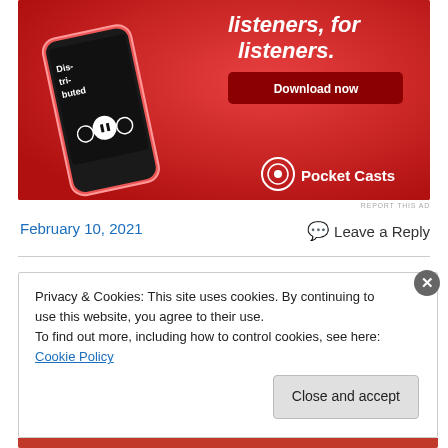[Figure (advertisement): Pocket Casts app advertisement on red background showing a smartphone with 'Dis-tri-buted' podcast text, headphone text 'listeners, for listeners.', Download now button, and Pocket Casts logo]
REPORT THIS AD
February 10, 2021
Leave a Reply
Privacy & Cookies: This site uses cookies. By continuing to use this website, you agree to their use.
To find out more, including how to control cookies, see here: Cookie Policy
Close and accept